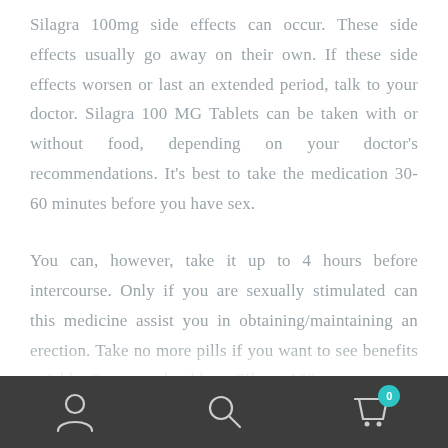Silagra 100mg side effects can occur. These side effects usually go away on their own. If these side effects worsen or last an extended period, talk to your doctor. Silagra 100 MG Tablets can be taken with or without food, depending on your doctor's recommendations. It's best to take the medication 30-60 minutes before you have sex.
You can, however, take it up to 4 hours before intercourse. Only if you are sexually stimulated can this medicine assist you in obtaining/maintaining an erection. Take no more pills if you want to see benefits quickly. One man should use Silagra 100 mg...